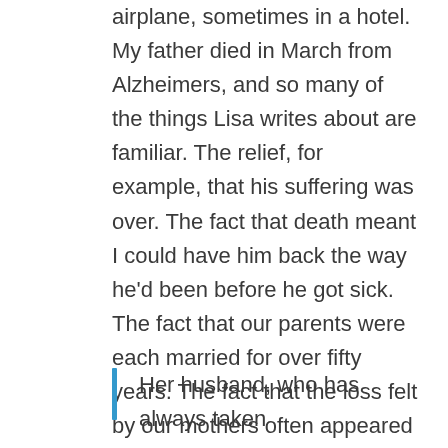airplane, sometimes in a hotel. My father died in March from Alzheimers, and so many of the things Lisa writes about are familiar. The relief, for example, that his suffering was over. The fact that death meant I could have him back the way he'd been before he got sick. The fact that our parents were each married for over fifty years. The fact that the loss felt by our mothers often appeared as a lack of compassion.
Her husband, who has always taken